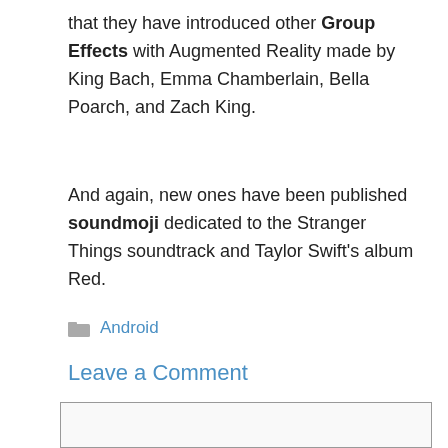that they have introduced other Group Effects with Augmented Reality made by King Bach, Emma Chamberlain, Bella Poarch, and Zach King.
And again, new ones have been published soundmoji dedicated to the Stranger Things soundtrack and Taylor Swift's album Red.
Android
Leave a Comment
[Figure (other): Empty comment text area input box]